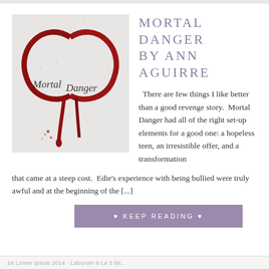[Figure (illustration): Book cover of Mortal Danger by Ann Aguirre. White/grey textured background with a dark red ribbon or blood streak forming an infinity/figure-eight shape. Script text 'Mortal Danger' overlaid on the cover.]
MORTAL DANGER BY ANN AGUIRRE
There are few things I like better than a good revenge story. Mortal Danger had all of the right set-up elements for a good one: a hopeless teen, an irresistible offer, and a transformation that came at a steep cost. Edie's experience with being bullied were truly awful and at the beginning of the [...]
♥ KEEP READING ♥